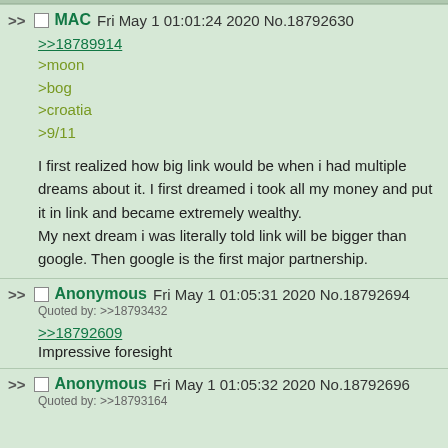>> MAC Fri May 1 01:01:24 2020 No.18792630
>>18789914
>moon
>bog
>croatia
>9/11

I first realized how big link would be when i had multiple dreams about it. I first dreamed i took all my money and put it in link and became extremely wealthy.
My next dream i was literally told link will be bigger than google. Then google is the first major partnership.
>> Anonymous Fri May 1 01:05:31 2020 No.18792694
Quoted by: >>18793432
>>18792609
Impressive foresight
>> Anonymous Fri May 1 01:05:32 2020 No.18792696
Quoted by: >>18793164